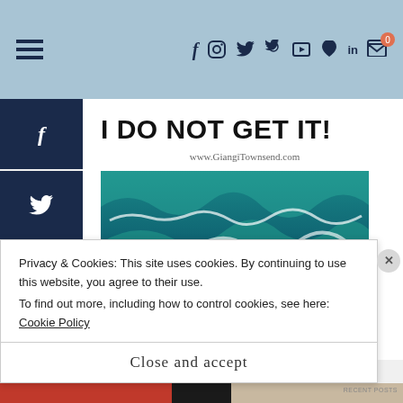Navigation bar with hamburger menu and social icons: f, Instagram, Twitter, Pinterest, YouTube, heart, LinkedIn, cart (0)
[Figure (screenshot): Left sidebar with social share buttons: Facebook (f), Twitter, Pinterest, LinkedIn, Email]
I DO NOT GET IT!
www.GiangiTownsend.com
[Figure (photo): Ocean photo showing turquoise/teal waves crashing over dark rocks]
Privacy & Cookies: This site uses cookies. By continuing to use this website, you agree to their use.
To find out more, including how to control cookies, see here: Cookie Policy
Close and accept